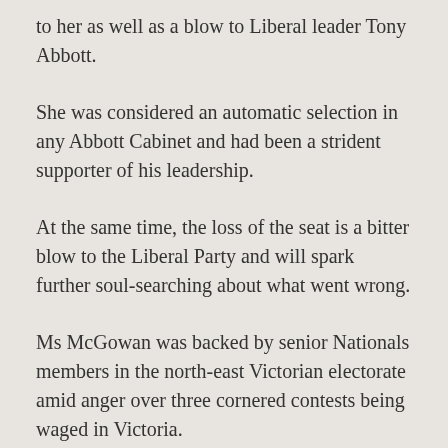to her as well as a blow to Liberal leader Tony Abbott.
She was considered an automatic selection in any Abbott Cabinet and had been a strident supporter of his leadership.
At the same time, the loss of the seat is a bitter blow to the Liberal Party and will spark further soul-searching about what went wrong.
Ms McGowan was backed by senior Nationals members in the north-east Victorian electorate amid anger over three cornered contests being waged in Victoria.